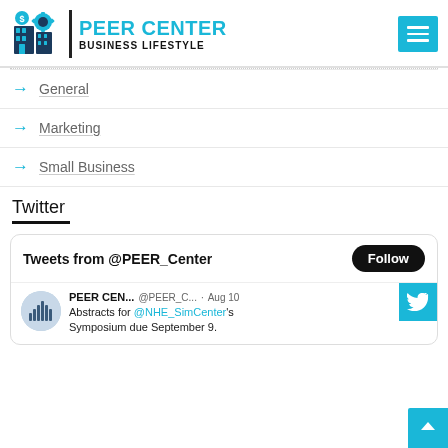[Figure (logo): Peer Center Business Lifestyle logo with teal building/gear icon, vertical divider, PEER CENTER in teal bold text, BUSINESS LIFESTYLE in black bold smaller text]
→ General
→ Marketing
→ Small Business
Twitter
Tweets from @PEER_Center
PEER CEN... @PEER_C... · Aug 10
Abstracts for @NHE_SimCenter's Symposium due September 9.